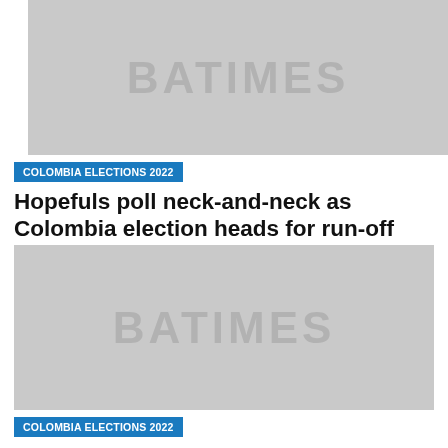[Figure (photo): Placeholder image with BATIMES watermark for first article about Colombia election]
COLOMBIA ELECTIONS 2022
Hopefuls poll neck-and-neck as Colombia election heads for run-off
[Figure (photo): Placeholder image with BATIMES watermark for second article about Colombian outsider]
COLOMBIA ELECTIONS 2022
Colombian outsider makes run-off